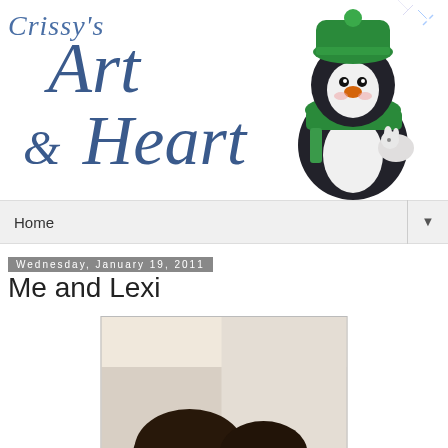[Figure (illustration): Crissy's Art & Heart blog header banner with stylized script text and a cartoon penguin wearing a green hat and scarf on the right side]
Home
Wednesday, January 19, 2011
Me and Lexi
[Figure (photo): Photo of two people with dark hair, cropped to show tops of heads close together]